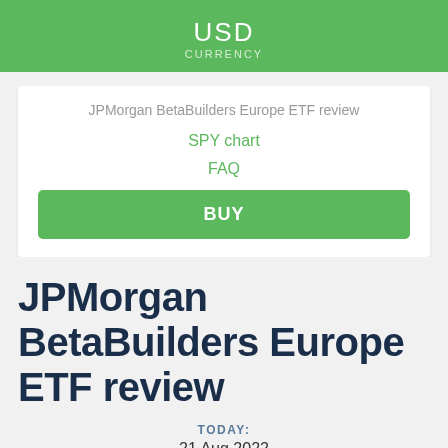USD
CURRENCY
JPMorgan BetaBuilders Europe ETF review
SPY chart
FAQ
BUY
JPMorgan BetaBuilders Europe ETF review
TODAY:
21 Aug 2022
TICKER: